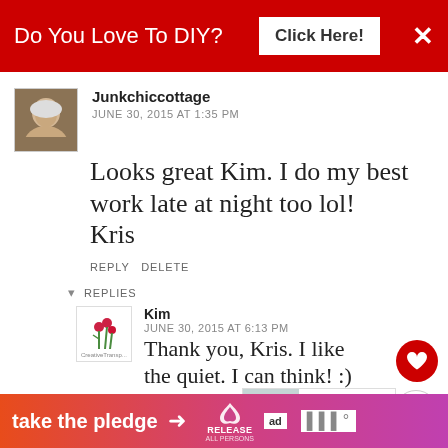[Figure (screenshot): Red ad banner at top: 'Do You Love To DIY? Click Here!' with X close button]
Junkchiccottage
JUNE 30, 2015 AT 1:35 PM
Looks great Kim. I do my best work late at night too lol!
Kris
REPLY DELETE
REPLIES
Kim
JUNE 30, 2015 AT 6:13 PM
Thank you, Kris. I like the quiet. I can think! :)
[Figure (screenshot): Bottom ad banner: 'take the pledge' with arrow, Release logo, ad badge, and mrc logo]